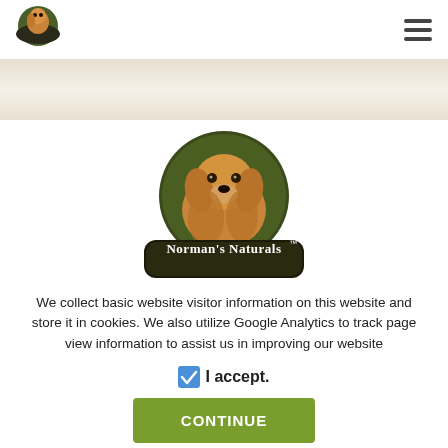Norman's Naturals navigation header with logo and hamburger menu
[Figure (logo): Norman's Naturals logo: golden retriever dog portrait in dark circular badge with 'Norman's Naturals TM' text on dark olive banner]
We collect basic website visitor information on this website and store it in cookies. We also utilize Google Analytics to track page view information to assist us in improving our website
I accept.
CONTINUE